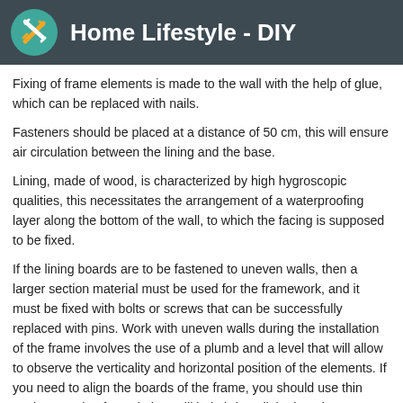Home Lifestyle - DIY
Fixing of frame elements is made to the wall with the help of glue, which can be replaced with nails.
Fasteners should be placed at a distance of 50 cm, this will ensure air circulation between the lining and the base.
Lining, made of wood, is characterized by high hygroscopic qualities, this necessitates the arrangement of a waterproofing layer along the bottom of the wall, to which the facing is supposed to be fixed.
If the lining boards are to be fastened to uneven walls, then a larger section material must be used for the framework, and it must be fixed with bolts or screws that can be successfully replaced with pins. Work with uneven walls during the installation of the frame involves the use of a plumb and a level that will allow to observe the verticality and horizontal position of the elements. If you need to align the boards of the frame, you should use thin wedges made of wood, they will help bring all the bars into one plane.
[Figure (illustration): Diagram showing layers of wall construction with Cyrillic label 'гипсокартонная плита' (drywall/gypsum board)]